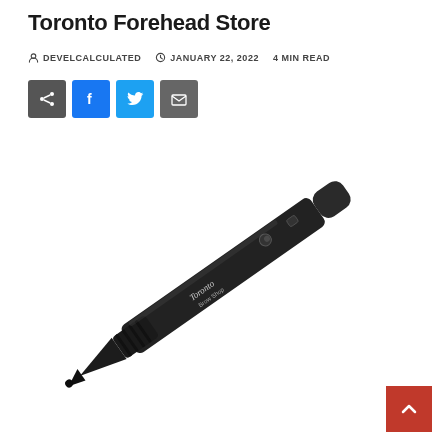Toronto Forehead Store
DEVELCALCULATED  JANUARY 22, 2022  4 MIN READ
[Figure (photo): Black pen-style tattoo or permanent makeup machine (Toronto Brow Shop branded) shown diagonally on a white background.]